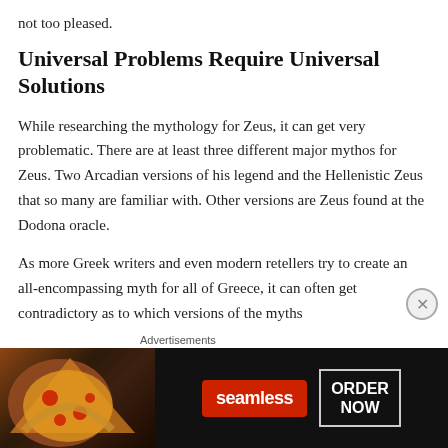not too pleased.
Universal Problems Require Universal Solutions
While researching the mythology for Zeus, it can get very problematic. There are at least three different major mythos for Zeus. Two Arcadian versions of his legend and the Hellenistic Zeus that so many are familiar with. Other versions are Zeus found at the Dodona oracle.
As more Greek writers and even modern retellers try to create an all-encompassing myth for all of Greece, it can often get contradictory as to which versions of the myths
Advertisements
[Figure (screenshot): Seamless food delivery advertisement banner featuring pizza image on left, seamless logo in red on center, and ORDER NOW button on right against dark background]